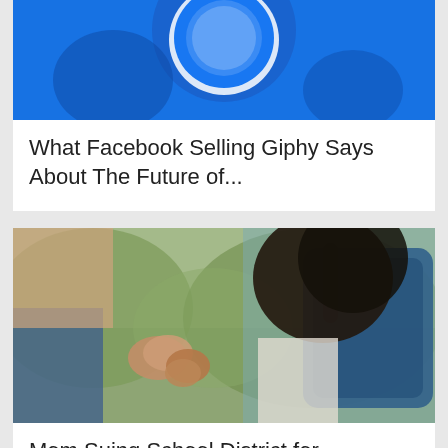[Figure (photo): Cropped blue Facebook logo/icon image, close-up on blue background with white circular element]
What Facebook Selling Giphy Says About The Future of...
[Figure (photo): Adult and child holding hands, child wearing blue backpack, school-related photo with blurred green background]
Mom Suing School District for